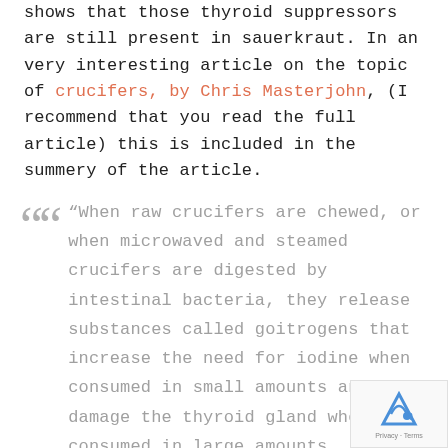shows that those thyroid suppressors are still present in sauerkraut. In an very interesting article on the topic of crucifers, by Chris Masterjohn, (I recommend that you read the full article) this is included in the summery of the article.
“When raw crucifers are chewed, or when microwaved and steamed crucifers are digested by intestinal bacteria, they release substances called goitrogens that increase the need for iodine when consumed in small amounts and can damage the thyroid gland when consumed in large amounts.